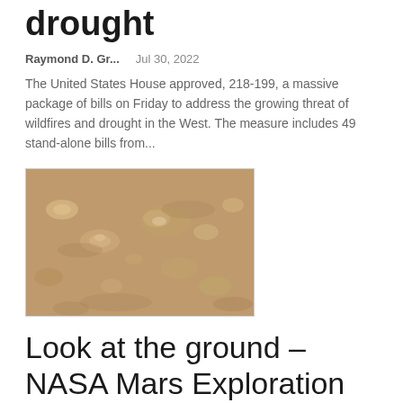drought
Raymond D. Gr...    Jul 30, 2022
The United States House approved, 218-199, a massive package of bills on Friday to address the growing threat of wildfires and drought in the West. The measure includes 49 stand-alone bills from...
[Figure (photo): Close-up photograph of sandy/rocky ground surface, brownish-tan colored, resembling Mars surface or dry earth.]
Look at the ground – NASA Mars Exploration
Raymond D. Gr...    Jul 29, 2022